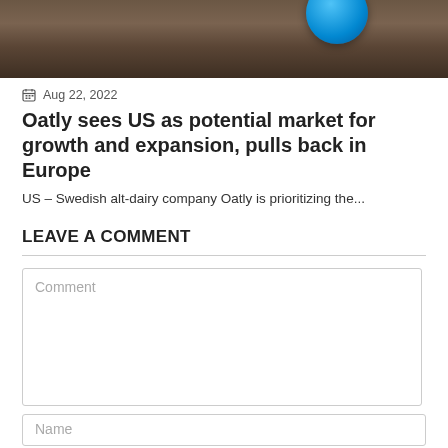[Figure (photo): A partial view of a dark brown wooden surface with a blue circular object (possibly a bottle cap or logo) visible in the upper right area.]
Aug 22, 2022
Oatly sees US as potential market for growth and expansion, pulls back in Europe
US – Swedish alt-dairy company Oatly is prioritizing the...
LEAVE A COMMENT
Comment
Name